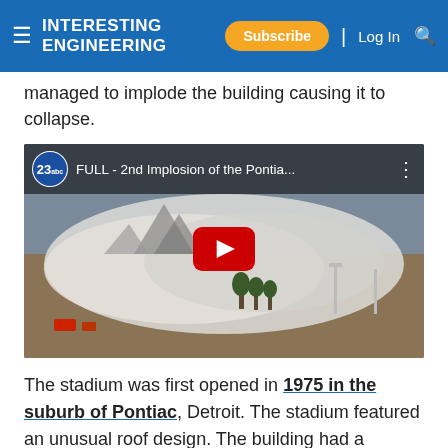Interesting Engineering — Subscribe | Log In
managed to implode the building causing it to collapse.
[Figure (screenshot): YouTube video thumbnail showing aerial view of the Pontiac stadium implosion with dust clouds. Video title: FULL - 2nd Implosion of the Pontia... Channel: 23abc]
The stadium was first opened in 1975 in the suburb of Pontiac, Detroit. The stadium featured an unusual roof design. The building had a fiberglass fabric roof that was held up with air pressure. The white fabric